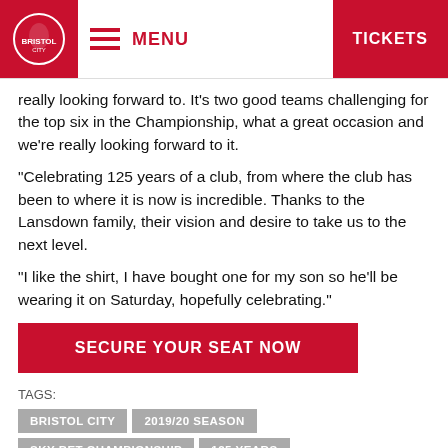MENU | TICKETS
really looking forward to. It’s two good teams challenging for the top six in the Championship, what a great occasion and we’re really looking forward to it.
“Celebrating 125 years of a club, from where the club has been to where it is now is incredible. Thanks to the Lansdown family, their vision and desire to take us to the next level.
“I like the shirt, I have bought one for my son so he’ll be wearing it on Saturday, hopefully celebrating.”
SECURE YOUR SEAT NOW
TAGS:
BRISTOL CITY
2019/20 SEASON
SKY BET CHAMPIONSHIP
125 YEARS
125-YEAR ANNIVERSARY
BRISTOL CITY V FULHAM
JAMIE MCALLISTER